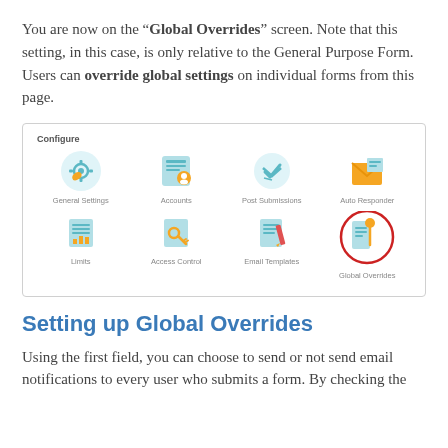You are now on the "Global Overrides" screen. Note that this setting, in this case, is only relative to the General Purpose Form. Users can override global settings on individual forms from this page.
[Figure (screenshot): A Configure panel showing 8 icons in a 4x2 grid: General Settings, Accounts, Post Submissions, Auto Responder (top row); Limits, Access Control, Email Templates, Global Overrides (bottom row). The Global Overrides icon is circled in red.]
Setting up Global Overrides
Using the first field, you can choose to send or not send email notifications to every user who submits a form. By checking the